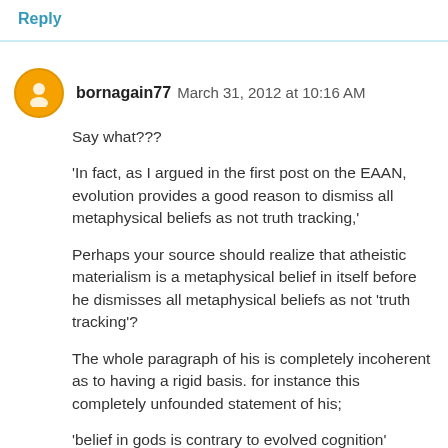Reply
bornagain77  March 31, 2012 at 10:16 AM
Say what???
'In fact, as I argued in the first post on the EAAN, evolution provides a good reason to dismiss all metaphysical beliefs as not truth tracking,'
Perhaps your source should realize that atheistic materialism is a metaphysical belief in itself before he dismisses all metaphysical beliefs as not 'truth tracking'?
The whole paragraph of his is completely incoherent as to having a rigid basis. for instance this completely unfounded statement of his;
'belief in gods is contrary to evolved cognition'
yet we find: